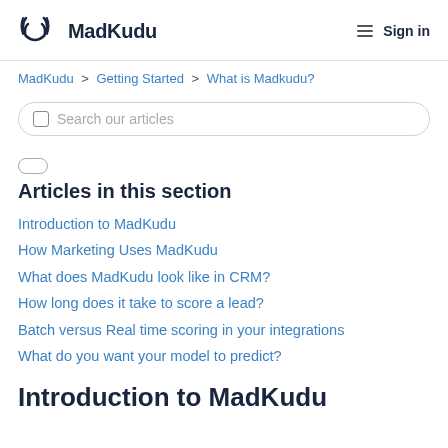MadKudu — Sign in
MadKudu > Getting Started > What is Madkudu?
Search our articles
Articles in this section
Introduction to MadKudu
How Marketing Uses MadKudu
What does MadKudu look like in CRM?
How long does it take to score a lead?
Batch versus Real time scoring in your integrations
What do you want your model to predict?
Introduction to MadKudu